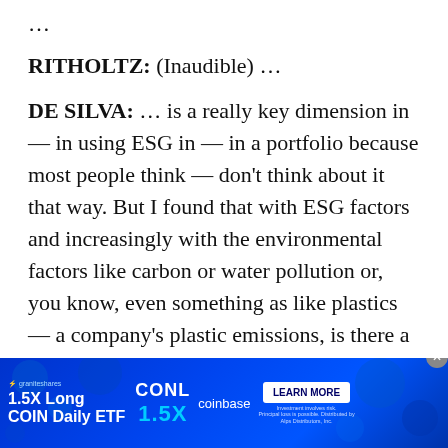...
RITHOLTZ: (Inaudible) ...
DE SILVA: ... is a really key dimension in — in using ESG in — in a portfolio because most people think — don't think about it that way. But I found that with ESG factors and increasingly with the environmental factors like carbon or water pollution or, you know, even something as like plastics — a company's plastic emissions, is there a way to measure that, and quantify, and incorporate in the portfolio because that's increasingly going to be something that investors care about and something that the company will have to care about, because it increasingly will be something the profile...
[Figure (other): Advertisement banner for CONL 1.5X Long COIN Daily ETF by GraniteShares, featuring Coinbase branding and a Learn More button on a blue background with decorative dots.]